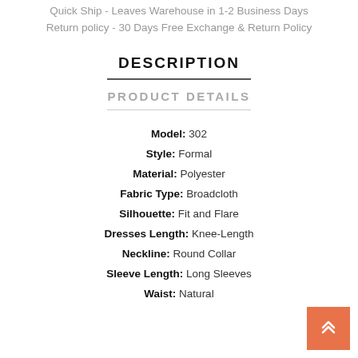Quick Ship - Leaves Warehouse in 1-2 Business Days
Return policy - 30 Days Free Exchange & Return Policy
DESCRIPTION
PRODUCT DETAILS
Model: 302
Style: Formal
Material: Polyester
Fabric Type: Broadcloth
Silhouette: Fit and Flare
Dresses Length: Knee-Length
Neckline: Round Collar
Sleeve Length: Long Sleeves
Waist: Natural